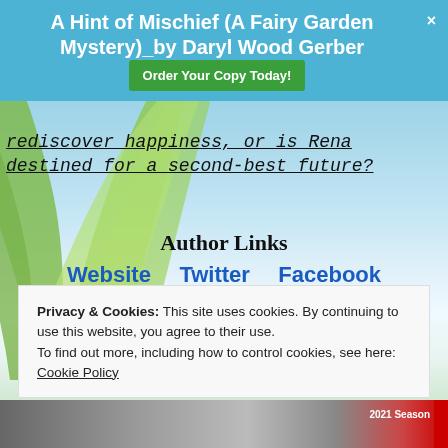A Hint of Mischief (A Fairy Garden Mystery)_by Daryl Wood Gerber | Order Your Copy Today!
rediscover happiness, or is Rena destined for a second-best future?
Author Links
Website   Twitter   Facebook   Amazon Author Page   Goodreads   BLOG Website   BookBub Author   Newsletter
Privacy & Cookies: This site uses cookies. By continuing to use this website, you agree to their use.
To find out more, including how to control cookies, see here:
Cookie Policy
Close and accept